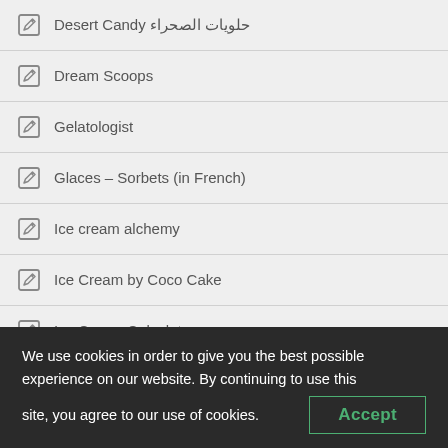Desert Candy حلويات الصحراء
Dream Scoops
Gelatologist
Glaces – Sorbets (in French)
Ice cream alchemy
Ice Cream by Coco Cake
Ice Cream Calculator
We use cookies in order to give you the best possible experience on our website. By continuing to use this site, you agree to our use of cookies.